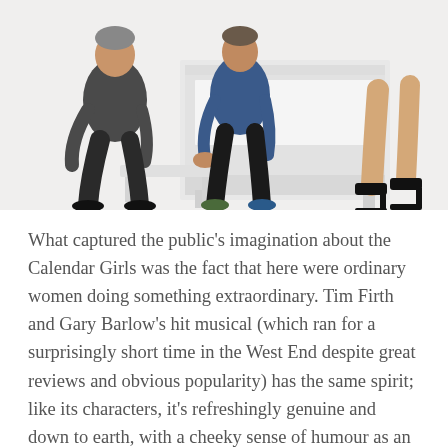[Figure (photo): Three people posing near a white upright piano against a white background. Two men are seated, one wearing a dark shirt and black trousers, the other in a blue denim jacket and black jeans. On the right side, a woman's legs in black high heels are visible, seated on or near the piano.]
What captured the public's imagination about the Calendar Girls was the fact that here were ordinary women doing something extraordinary. Tim Firth and Gary Barlow's hit musical (which ran for a surprisingly short time in the West End despite great reviews and obvious popularity) has the same spirit; like its characters, it's refreshingly genuine and down to earth, with a cheeky sense of humour as an added bonus. It's also quite the rollercoaster, with desperately sad moments followed